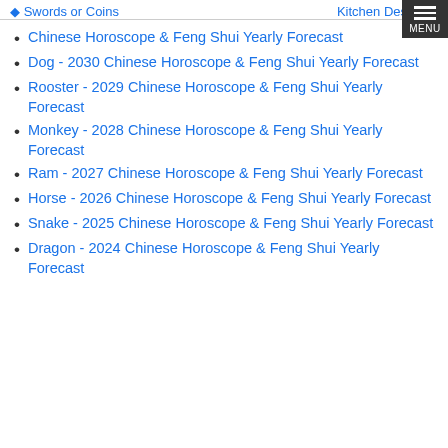◆ Swords or Coins    Kitchen Design ◆
Chinese Horoscope & Feng Shui Yearly Forecast
Dog - 2030 Chinese Horoscope & Feng Shui Yearly Forecast
Rooster - 2029 Chinese Horoscope & Feng Shui Yearly Forecast
Monkey - 2028 Chinese Horoscope & Feng Shui Yearly Forecast
Ram - 2027 Chinese Horoscope & Feng Shui Yearly Forecast
Horse - 2026 Chinese Horoscope & Feng Shui Yearly Forecast
Snake - 2025 Chinese Horoscope & Feng Shui Yearly Forecast
Dragon - 2024 Chinese Horoscope & Feng Shui Yearly Forecast